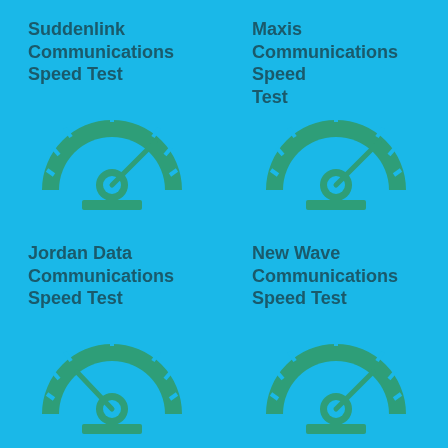[Figure (infographic): Four speedometer/gauge icons arranged in a 2x2 grid on a cyan background, each paired with a title. Top-left: Suddenlink Communications Speed Test. Top-right: Maxis Communications Speed Test. Bottom-left: Jordan Data Communications Speed Test. Bottom-right: New Wave Communications Speed Test.]
Suddenlink Communications Speed Test
Maxis Communications Speed Test
Jordan Data Communications Speed Test
New Wave Communications Speed Test